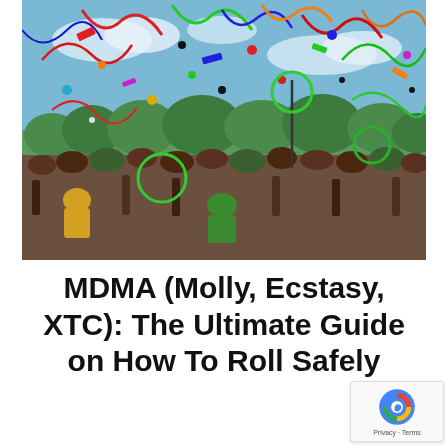[Figure (photo): A large outdoor festival crowd with arms raised, colorful confetti, streamers, hula hoops, and ribbons flying in the air above them, with green trees and blue sky in the background.]
MDMA (Molly, Ecstasy, XTC): The Ultimate Guide on How To Roll Safely